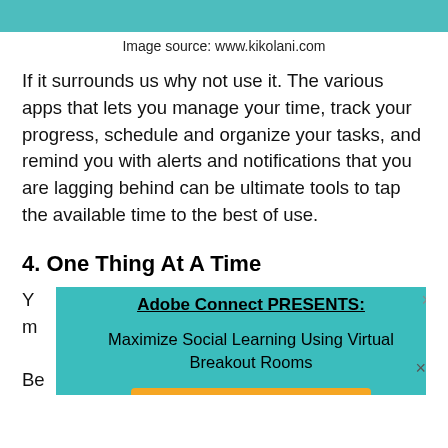[Figure (other): Teal/blue-green header bar at top of page]
Image source: www.kikolani.com
If it surrounds us why not use it. The various apps that lets you manage your time, track your progress, schedule and organize your tasks, and remind you with alerts and notifications that you are lagging behind can be ultimate tools to tap the available time to the best of use.
4. One Thing At A Time
Y... m... Be... A... eB...
[Figure (screenshot): Adobe Connect popup advertisement: 'Adobe Connect PRESENTS: Maximize Social Learning Using Virtual Breakout Rooms' with a REGISTER NOW! button]